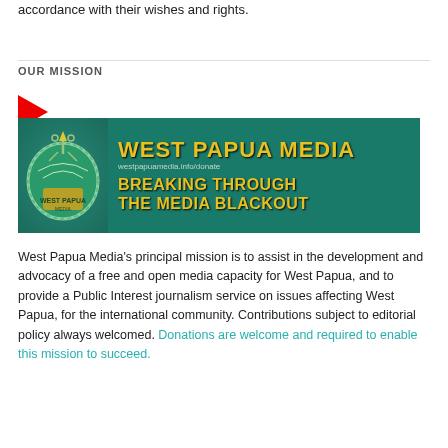accordance with their wishes and rights.
OUR MISSION
[Figure (illustration): West Papua Media banner with teal/green background, circular logo on left, bold yellow text reading 'WEST PAPUA MEDIA', URL 'westpapuamedia.info/donate', and tagline 'BREAKING THROUGH THE MEDIA BLACKOUT']
West Papua Media's principal mission is to assist in the development and advocacy of a free and open media capacity for West Papua, and to provide a Public Interest journalism service on issues affecting West Papua, for the international community. Contributions subject to editorial policy always welcomed. Donations are welcome and required to enable this mission to succeed.